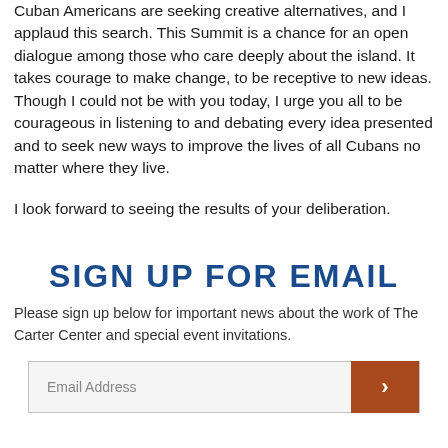Cuban Americans are seeking creative alternatives, and I applaud this search. This Summit is a chance for an open dialogue among those who care deeply about the island. It takes courage to make change, to be receptive to new ideas. Though I could not be with you today, I urge you all to be courageous in listening to and debating every idea presented and to seek new ways to improve the lives of all Cubans no matter where they live.
I look forward to seeing the results of your deliberation.
SIGN UP FOR EMAIL
Please sign up below for important news about the work of The Carter Center and special event invitations.